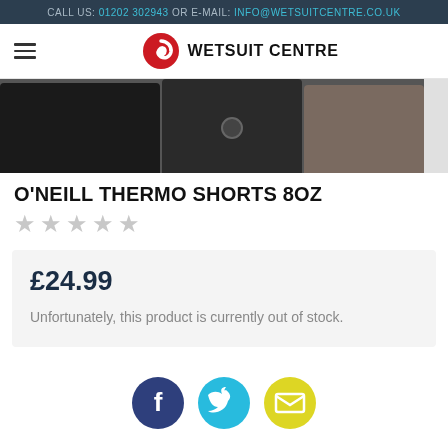CALL US: 01202 302943 OR E-MAIL: INFO@WETSUITCENTRE.CO.UK
[Figure (logo): Wetsuit Centre logo with hamburger menu icon and spiral wave logo mark]
[Figure (photo): Product image strip showing O'Neill Thermo Shorts in black and grey/brown colors]
O'NEILL THERMO SHORTS 8OZ
★★★★★ (empty star rating)
£24.99
Unfortunately, this product is currently out of stock.
[Figure (illustration): Social media icons: Facebook (dark blue circle with F), Twitter (cyan circle with bird), Email (yellow circle with envelope)]